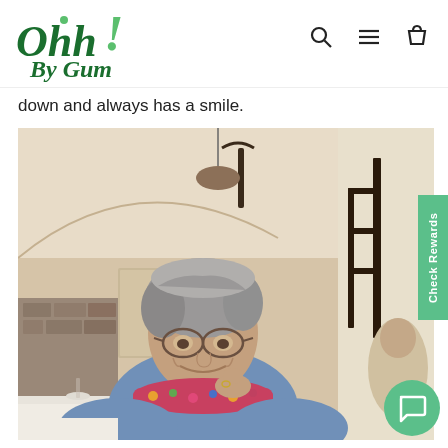Ohh! By Gum — navigation header with logo and icons (search, menu, cart)
down and always has a smile.
[Figure (photo): Elderly woman with grey hair and glasses, smiling and sitting at a restaurant table. She is wearing a blue cardigan and a floral scarf. The restaurant interior has stone walls, pendant lighting, and wall art visible in the background.]
Check Rewards